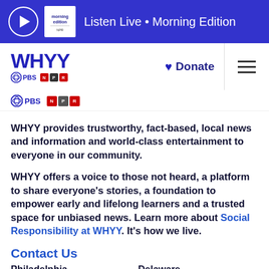Listen Live • Morning Edition
[Figure (logo): WHYY PBS NPR logo with Donate button and hamburger menu]
[Figure (logo): PBS and NPR secondary logo row]
WHYY provides trustworthy, fact-based, local news and information and world-class entertainment to everyone in our community.
WHYY offers a voice to those not heard, a platform to share everyone's stories, a foundation to empower early and lifelong learners and a trusted space for unbiased news. Learn more about Social Responsibility at WHYY. It's how we live.
Contact Us
Philadelphia
Delaware